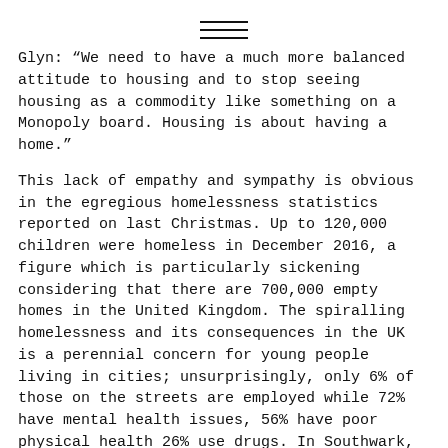[Figure (other): Three short horizontal decorative lines centered at top of page]
Glyn: “We need to have a much more balanced attitude to housing and to stop seeing housing as a commodity like something on a Monopoly board. Housing is about having a home.”
This lack of empathy and sympathy is obvious in the egregious homelessness statistics reported on last Christmas. Up to 120,000 children were homeless in December 2016, a figure which is particularly sickening considering that there are 700,000 empty homes in the United Kingdom. The spiralling homelessness and its consequences in the UK is a perennial concern for young people living in cities; unsurprisingly, only 6% of those on the streets are employed while 72% have mental health issues, 56% have poor physical health 26% use drugs. In Southwark, the local council evicted ‘Divine